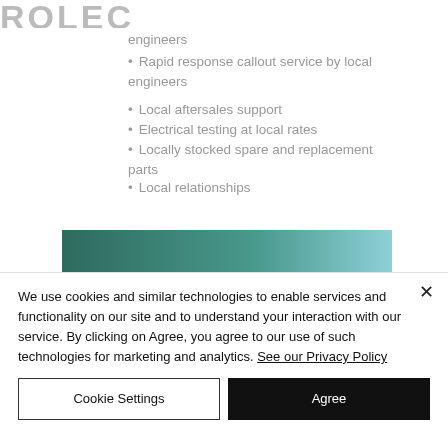[Figure (logo): Partially visible logo text/brand name in large bold gray letters at top left]
engineers
Rapid response callout service by local engineers
Local aftersales support
Electrical testing at local rates
Locally stocked spare and replacement parts
Local relationships
[Figure (photo): Outdoor landscape photo showing green trees against a teal/blue-green sky]
We use cookies and similar technologies to enable services and functionality on our site and to understand your interaction with our service. By clicking on Agree, you agree to our use of such technologies for marketing and analytics. See our Privacy Policy
Cookie Settings
Agree